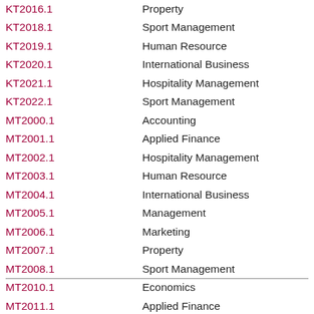| Code | Description |
| --- | --- |
| KT2016.1 | Property |
| KT2018.1 | Sport Management |
| KT2019.1 | Human Resource |
| KT2020.1 | International Business |
| KT2021.1 | Hospitality Management |
| KT2022.1 | Sport Management |
| MT2000.1 | Accounting |
| MT2001.1 | Applied Finance |
| MT2002.1 | Hospitality Management |
| MT2003.1 | Human Resource |
| MT2004.1 | International Business |
| MT2005.1 | Management |
| MT2006.1 | Marketing |
| MT2007.1 | Property |
| MT2008.1 | Sport Management |
| MT2010.1 | Economics |
| MT2011.1 | Applied Finance |
| MT2012.1 | Human Resource |
| MT2013.1 | Management |
| MT2014.1 | Property |
| MT2015.1 | International Business |